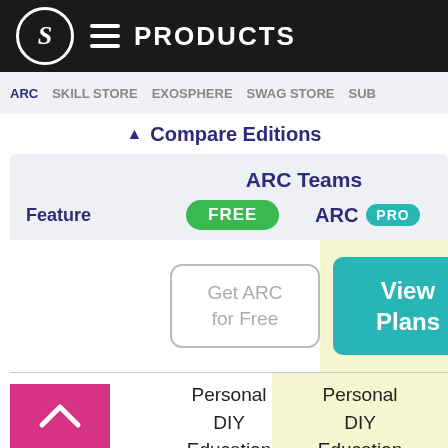S  ≡  PRODUCTS
ARC  SKILL STORE  EXOSPHERE  SWAG STORE  SUB
▲ Compare Editions
| Feature | FREE | ARC PRO |
| --- | --- | --- |
|  | Get ARC for Free | View Plans |
| Usage | Personal
DIY
Education | Personal
DIY
Education
Business |